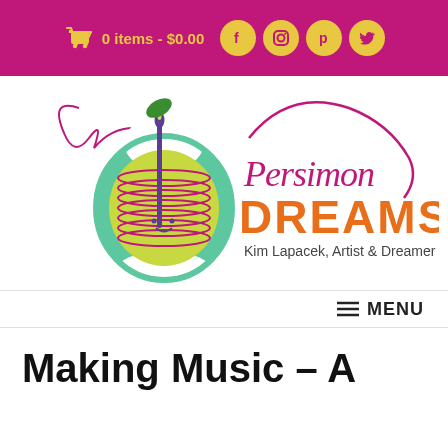0 items - $0.00  [Facebook] [Instagram] [Pinterest] [Twitter]
[Figure (logo): Persimon Dreams logo: green apple spool of thread with needle and pink thread, cursive 'Persimon' text in magenta and bold orange 'DREAMS', subtitle 'Kim Lapacek, Artist & Dreamer']
≡ MENU
Making Music – A